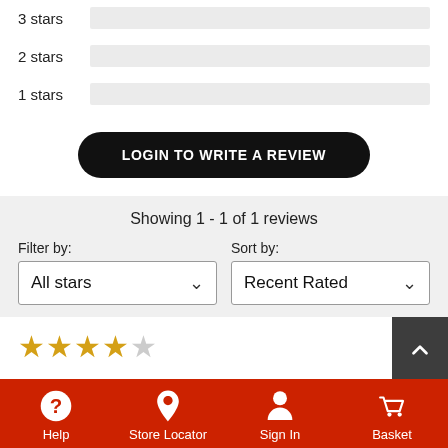3 stars
2 stars
1 stars
LOGIN TO WRITE A REVIEW
Showing 1 - 1 of 1 reviews
Filter by: All stars
Sort by: Recent Rated
[Figure (other): 4 out of 5 star rating display]
Help | Store Locator | Sign In | Basket